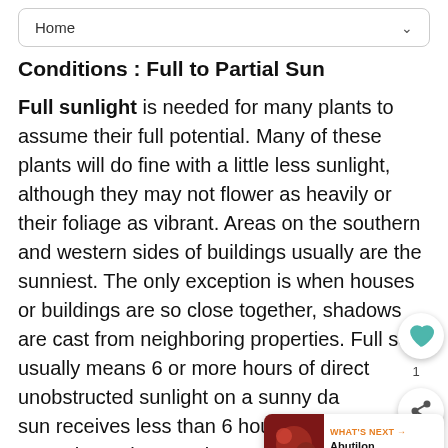Home
Conditions : Full to Partial Sun
Full sunlight is needed for many plants to assume their full potential. Many of these plants will do fine with a little less sunlight, although they may not flower as heavily or their foliage as vibrant. Areas on the southern and western sides of buildings usually are the sunniest. The only exception is when houses or buildings are so close together, shadows are cast from neighboring properties. Full sun usually means 6 or more hours of direct unobstructed sunlight on a sunny day. Partial sun receives less than 6 hours of sun, but more than 3 hours. Plants able to take full sun